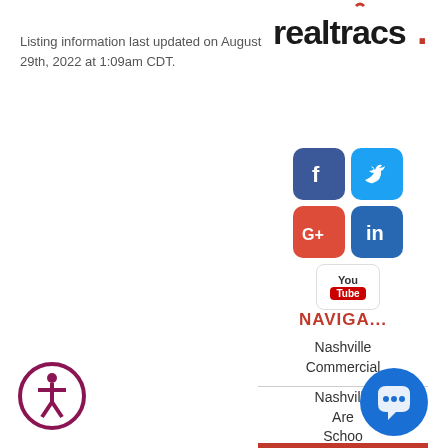[Figure (logo): Realtracs logo with stylized red accent mark above the word 'realtracs' followed by a period]
Listing information last updated on August 29th, 2022 at 1:09am CDT.
[Figure (infographic): Social media icons grid: Facebook (blue), Twitter (blue), Google+ (red), LinkedIn (blue), YouTube (white/red)]
NAVIGA...
Nashville Commercial
Nashville Area Schools
[Figure (illustration): Accessibility icon button (person in circle, dark pink/maroon)]
[Figure (illustration): Chat/support button (speech bubble icon, blue)]